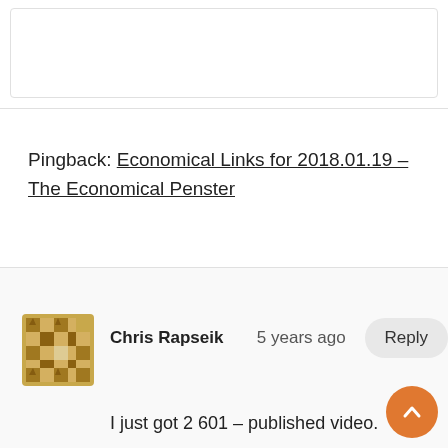Pingback: Economical Links for 2018.01.19 – The Economical Penster
Chris Rapseik   5 years ago
I just got 2 601 – published video.
They are OK so far. Well made. Write like a vintage 51.